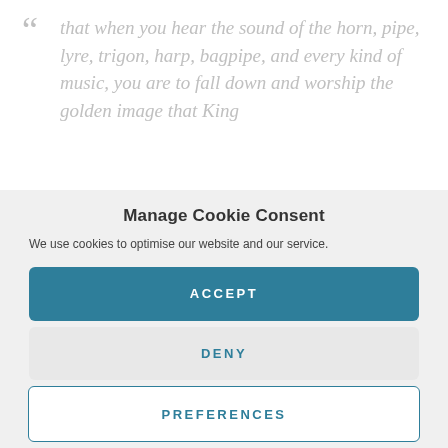“ that when you hear the sound of the horn, pipe, lyre, trigon, harp, bagpipe, and every kind of music, you are to fall down and worship the golden image that King
Manage Cookie Consent
We use cookies to optimise our website and our service.
ACCEPT
DENY
PREFERENCES